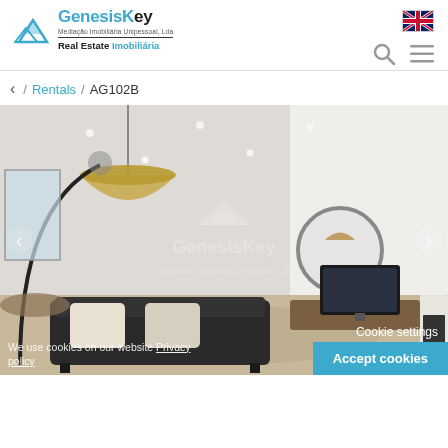[Figure (logo): GenesisKey logo with mountain/roof icon, subtitle 'Mediação Imobiliária Unipessoal, Lda', tagline 'Real Estate Imobiliária']
[Figure (screenshot): UK flag icon in top right corner]
[Figure (illustration): Search icon (magnifying glass) and hamburger menu icon]
< / Rentals / AG102B
[Figure (photo): Interior photo of a modern living room with sofa, pendant lamp, fireplace, TV unit and GenesisKey watermark. Navigation arrows on left and right.]
We use cookies on our website Privacy policy
Cookie settings
Accept cookies